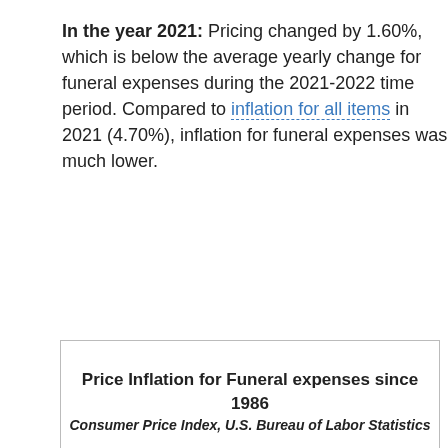In the year 2021: Pricing changed by 1.60%, which is below the average yearly change for funeral expenses during the 2021-2022 time period. Compared to inflation for all items in 2021 (4.70%), inflation for funeral expenses was much lower.
[Figure (other): Box containing title 'Price Inflation for Funeral expenses since 1986' and subtitle 'Consumer Price Index, U.S. Bureau of Labor Statistics']